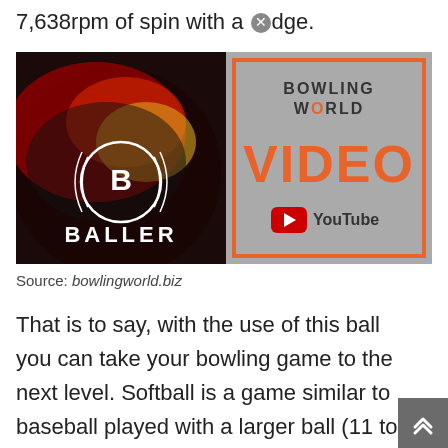7,638rpm of spin with a [icon]dge.
[Figure (screenshot): Bowling World Video thumbnail showing a bowling ball labeled 'BALLER' with the text 'VIDEO' and YouTube logo on a gray background with orange border. 'BOWLING WORLD' text in top right.]
Source: bowlingworld.biz
That is to say, with the use of this ball you can take your bowling game to the next level. Softball is a game similar to baseball played with a larger ball (11 to 16 inches or 28 to 40 [icon] circumference) on a field